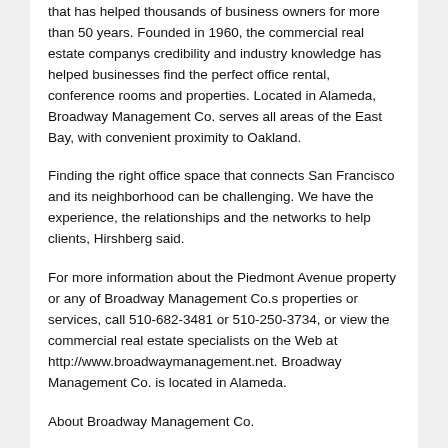that has helped thousands of business owners for more than 50 years. Founded in 1960, the commercial real estate companys credibility and industry knowledge has helped businesses find the perfect office rental, conference rooms and properties. Located in Alameda, Broadway Management Co. serves all areas of the East Bay, with convenient proximity to Oakland.
Finding the right office space that connects San Francisco and its neighborhood can be challenging. We have the experience, the relationships and the networks to help clients, Hirshberg said.
For more information about the Piedmont Avenue property or any of Broadway Management Co.s properties or services, call 510-682-3481 or 510-250-3734, or view the commercial real estate specialists on the Web at http://www.broadwaymanagement.net. Broadway Management Co. is located in Alameda.
About Broadway Management Co.